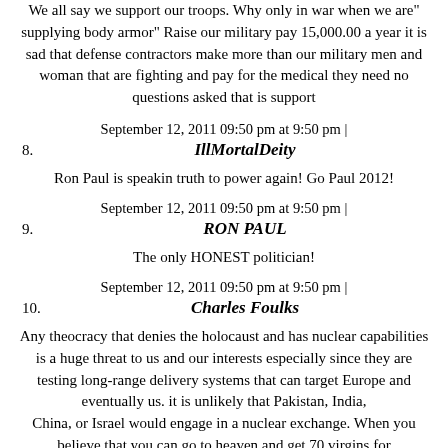We all say we support our troops. Why only in war when we are" supplying body armor" Raise our military pay 15,000.00 a year it is sad that defense contractors make more than our military men and woman that are fighting and pay for the medical they need no questions asked that is support
September 12, 2011 09:50 pm at 9:50 pm |
8. IllMortalDeity
Ron Paul is speakin truth to power again! Go Paul 2012!
September 12, 2011 09:50 pm at 9:50 pm |
9. RON PAUL
The only HONEST politician!
September 12, 2011 09:50 pm at 9:50 pm |
10. Charles Foulks
Any theocracy that denies the holocaust and has nuclear capabilities is a huge threat to us and our interests especially since they are testing long-range delivery systems that can target Europe and eventually us. it is unlikely that Pakistan, India, China, or Israel would engage in a nuclear exchange. When you believe that you can go to heaven and get 70 virgins for